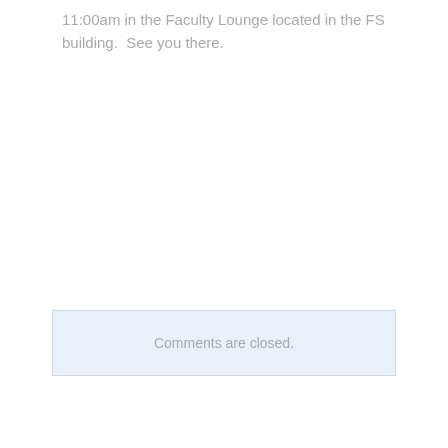11:00am in the Faculty Lounge located in the FS building.  See you there.
Comments are closed.
Categories
All
Announcement
Athletics
Clubs
College Career Center
Covid
Events
Freshmen
Juniors